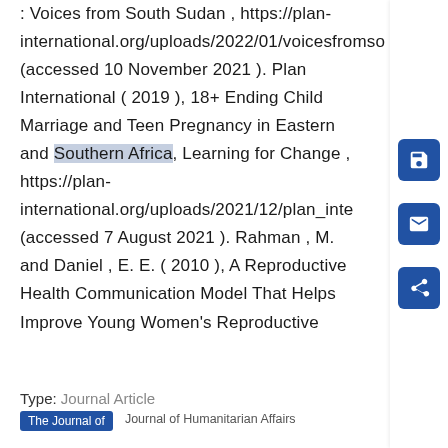: Voices from South Sudan , https://plan-international.org/uploads/2022/01/voicesfromso (accessed 10 November 2021 ). Plan International ( 2019 ), 18+ Ending Child Marriage and Teen Pregnancy in Eastern and Southern Africa, Learning for Change , https://plan-international.org/uploads/2021/12/plan_inte (accessed 7 August 2021 ). Rahman , M. and Daniel , E. E. ( 2010 ), A Reproductive Health Communication Model That Helps Improve Young Women's Reproductive
Type: Journal Article
The Journal of   Journal of Humanitarian Affairs